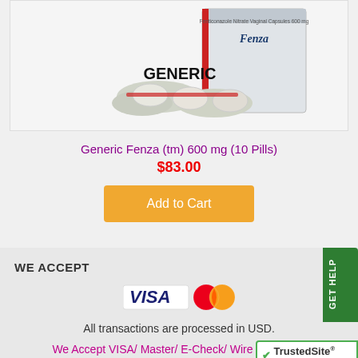[Figure (photo): Product image of Generic Fenza medication box and blister pack with white capsules, with 'GENERIC' text overlay]
Generic Fenza (tm) 600 mg (10 Pills)
$83.00
Add to Cart
WE ACCEPT
[Figure (logo): VISA and Mastercard payment logos]
All transactions are processed in USD.
We Accept VISA/ Master/ E-Check/ Wire Transfers.
[Figure (logo): TrustedSite Certified Secure badge]
GET HELP